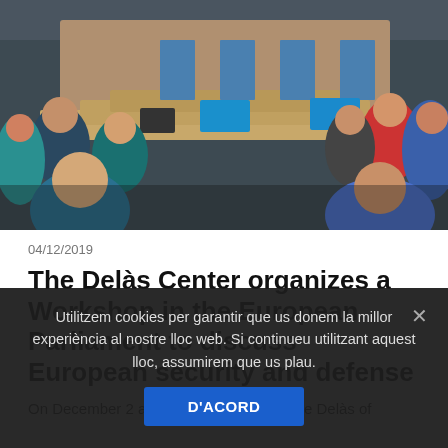[Figure (photo): Meeting room with people seated at long curved tables with laptops and monitors, European Parliament workshop setting]
04/12/2019
The Delàs Center organizes a Workshop in the European Parliament to discuss European security and defense
On December 2 and 3, members of Centre Delàs of
Utilitzem cookies per garantir que us donem la millor experiència al nostre lloc web. Si continueu utilitzant aquest lloc, assumirem que us plau.
D'ACORD